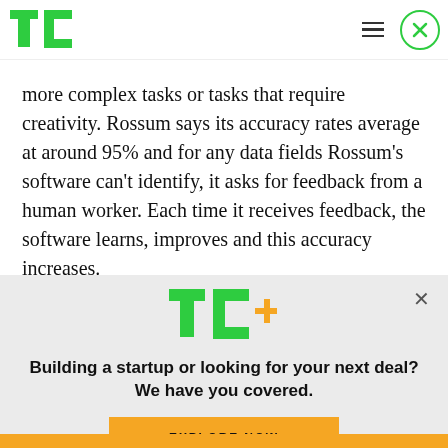TechCrunch header with logo and navigation icons
more complex tasks or tasks that require creativity. Rossum says its accuracy rates average at around 95% and for any data fields Rossum’s software can’t identify, it asks for feedback from a human worker. Each time it receives feedback, the software learns, improves and this accuracy increases.
[Figure (logo): TechCrunch TC+ logo in green and yellow]
Building a startup or looking for your next deal? We have you covered.
EXPLORE NOW